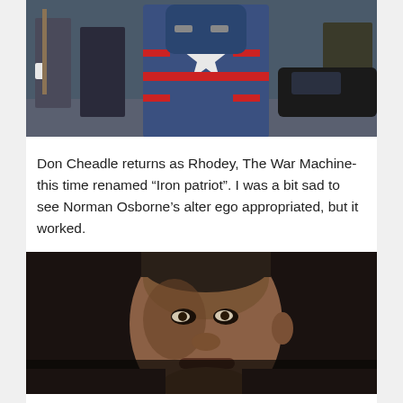[Figure (photo): A figure in a red, white and blue armored suit (Iron Patriot / War Machine) standing between men in military/security uniforms, outdoors near a vehicle.]
Don Cheadle returns as Rhodey, The War Machine- this time renamed “Iron patriot”. I was a bit sad to see Norman Osborne’s alter ego appropriated, but it worked.
[Figure (photo): Close-up portrait of a man's face in dramatic low lighting, looking intensely at the camera.]